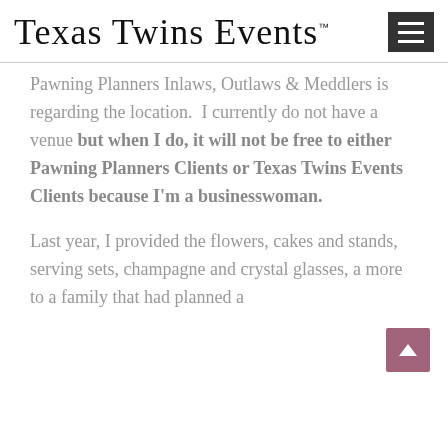Texas Twins Events™
Pawning Planners Inlaws, Outlaws & Meddlers is regarding the location.  I currently do not have a venue but when I do, it will not be free to either Pawning Planners Clients or Texas Twins Events Clients because I'm a businesswoman.
Last year, I provided the flowers, cakes and stands, serving sets, champagne and crystal glasses, a more to a family that had planned a